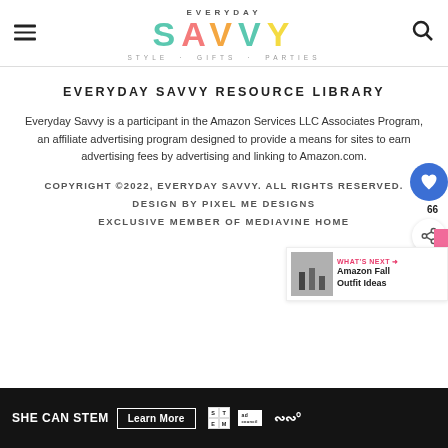EVERYDAY SAVVY — STYLE · GIFTS · PARTIES
EVERYDAY SAVVY RESOURCE LIBRARY
Everyday Savvy is a participant in the Amazon Services LLC Associates Program, an affiliate advertising program designed to provide a means for sites to earn advertising fees by advertising and linking to Amazon.com.
COPYRIGHT ©2022, EVERYDAY SAVVY. ALL RIGHTS RESERVED.
DESIGN BY PIXEL ME DESIGNS
EXCLUSIVE MEMBER OF MEDIAVINE HOME
[Figure (other): What's Next block with Amazon Fall Outfit Ideas thumbnail]
SHE CAN STEM — Learn More — ad council badges